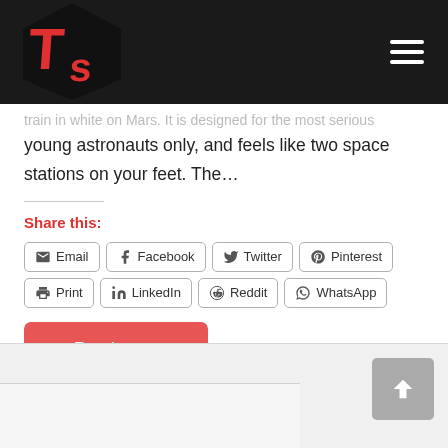[Figure (logo): TS logo — black hexagon with red letters T and s]
train in white on Mars. It is designed for the most serious young astronauts only, and feels like two space stations on your feet. The…
Share this:
Email  Facebook  Twitter  Pinterest  Print  LinkedIn  Reddit  WhatsApp
Read more